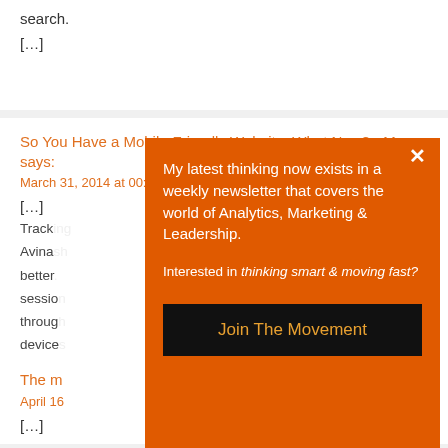search.
[...]
So You Have a Mobile-Friendly Website. What Now? - Moz says:
March 31, 2014 at 00:29
[...]
Tracking
Avina
better
session
through
device
[...]
The m
April 16
[...]
[Figure (screenshot): Orange modal popup with newsletter signup. Contains headline 'My latest thinking now exists in a weekly newsletter that covers the world of Analytics, Marketing & Leadership.', subtext 'Interested in thinking smart & moving fast?', and a black button labeled 'Join The Movement'. Has a white X close button in top right corner.]